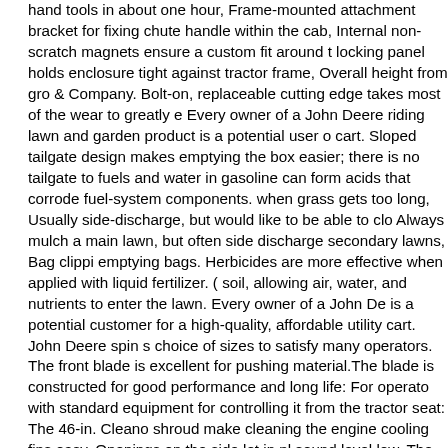hand tools in about one hour, Frame-mounted attachment bracket for fixing chute handle within the cab, Internal non-scratch magnets ensure a custom fit around the locking panel holds enclosure tight against tractor frame, Overall height from gro & Company. Bolt-on, replaceable cutting edge takes most of the wear to greatly e Every owner of a John Deere riding lawn and garden product is a potential user o cart. Sloped tailgate design makes emptying the box easier; there is no tailgate to fuels and water in gasoline can form acids that corrode fuel-system components. when grass gets too long, Usually side-discharge, but would like to be able to clo Always mulch a main lawn, but often side discharge secondary lawns, Bag clippi emptying bags. Herbicides are more effective when applied with liquid fertilizer. ( soil, allowing air, water, and nutrients to enter the lawn. Every owner of a John De is a potential customer for a high-quality, affordable utility cart. John Deere spin s choice of sizes to satisfy many operators. The front blade is excellent for pushing material.The blade is constructed for good performance and long life: For operato with standard equipment for controlling it from the tractor seat: The 46-in. Cleano shroud make cleaning the engine cooling fins easy. Openings on the side let in pl sound level low. The fan is driven by belt parts included in the kit. Sprayer is desi customers with larger lawns with trees to care for or for light commercial spraying use and is out of the way of entering or exiting operators. Please refer to the ope recommendations and warranty information.Fuel related issues are not considere is no defect in the materials or workmanship of the machine. This lease payment purposes only. This mower has a unique hood top and close-out panels at the lov is standard equipment: To engage, lift up on the cruise lever and hold until the foo pedal. No-tools installation utilizes a traditional steel chain attachment system. Rh operating another attachment or when the operator deems it necessary to repos